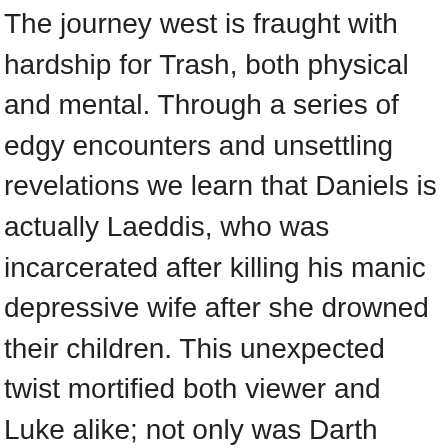The journey west is fraught with hardship for Trash, both physical and mental. Through a series of edgy encounters and unsettling revelations we learn that Daniels is actually Laeddis, who was incarcerated after killing his manic depressive wife after she drowned their children. This unexpected twist mortified both viewer and Luke alike; not only was Darth Vader and evil man trying to take over the known universe, but also a deadbeat dad. At least for Harry Angel (Mickey Rourke), who is employed by Cyphre to track down a World War II soldier named Johnny Favorite. There are two detonations on two separate days, damaging valuable equipment — and more importantly, killing all of Flagg's pilots. Donald Merwin Elbert Here are the best movies of the 2000s in terms of box office for each year - according to Box Office Mojo… 2000: How the